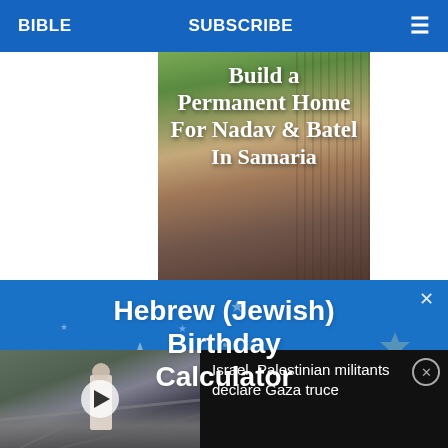BIBLE  SUBSCRIBE  ≡
[Figure (photo): Article promotional image with text overlay reading 'Build a Permanent Home For Nadav & Batel In Samaria' over a nature/fence background]
[Figure (infographic): Blue advertisement banner with stars decoration reading 'Hebrew (Jewish) Birthday Calculator' with an X close button]
[Figure (screenshot): News video thumbnail showing rubble/destruction scene with a person in white standing amid debris]
Israel, Palestinian militants declare Gaza truce